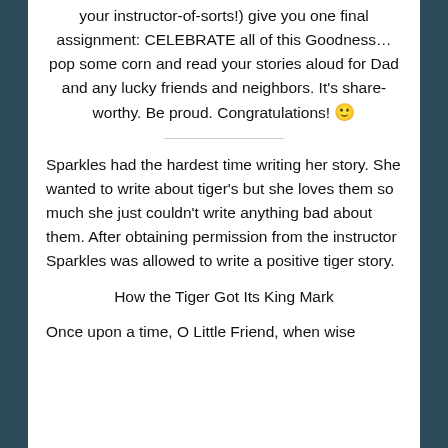your instructor-of-sorts!) give you one final assignment: CELEBRATE all of this Goodness…pop some corn and read your stories aloud for Dad and any lucky friends and neighbors. It's share-worthy. Be proud. Congratulations! 🙂
Sparkles had the hardest time writing her story. She wanted to write about tiger's but she loves them so much she just couldn't write anything bad about them. After obtaining permission from the instructor Sparkles was allowed to write a positive tiger story.
How the Tiger Got Its King Mark
Once upon a time, O Little Friend, when wise